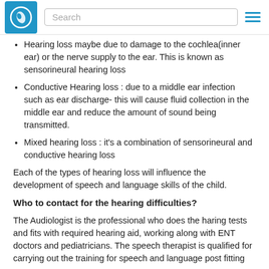Search
Hearing loss maybe due to damage to the cochlea(inner ear) or the nerve supply to the ear. This is known as sensorineural hearing loss
Conductive Hearing loss : due to a middle ear infection such as ear discharge- this will cause fluid collection in the middle ear and reduce the amount of sound being transmitted.
Mixed hearing loss : it's a combination of sensorineural and conductive hearing loss
Each of the types of hearing loss will influence the development of speech and language skills of the child.
Who to contact for the hearing difficulties?
The Audiologist is the professional who does the haring tests and fits with required hearing aid, working along with ENT doctors and pediatricians. The speech therapist is qualified for carrying out the training for speech and language post fitting